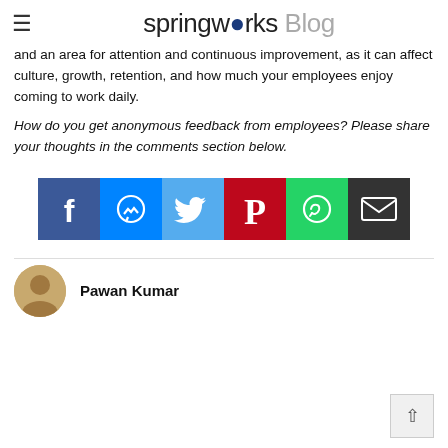springworks Blog
and an area for attention and continuous improvement, as it can affect culture, growth, retention, and how much your employees enjoy coming to work daily.
How do you get anonymous feedback from employees? Please share your thoughts in the comments section below.
[Figure (infographic): Social share buttons: Facebook (blue), Messenger (blue), Twitter (light blue), Pinterest (red), WhatsApp (green), Email (black)]
Pawan Kumar